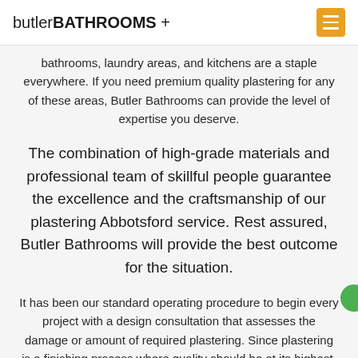butlerBATHROOMS +
bathrooms, laundry areas, and kitchens are a staple everywhere. If you need premium quality plastering for any of these areas, Butler Bathrooms can provide the level of expertise you deserve.
The combination of high-grade materials and professional team of skillful people guarantee the excellence and the craftsmanship of our plastering Abbotsford service. Rest assured, Butler Bathrooms will provide the best outcome for the situation.
It has been our standard operating procedure to begin every project with a design consultation that assesses the damage or amount of required plastering. Since plastering is a finishing process where quality should be at its highest, you need to have the work done right from the start. This way, you can sit back and live cozy in your humble abode for years to come.